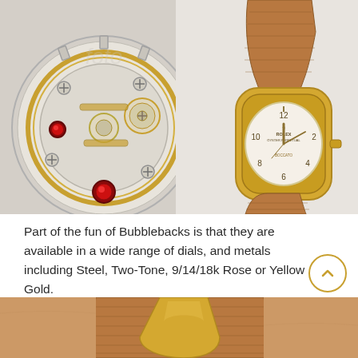[Figure (photo): Composite image: left side shows a detailed illustrated/rendered watch movement with gears, jewels, and golden accents; right side shows a vintage Rolex Bubbleback watch with cream dial, gold case, and tan lizard-skin leather strap on a light grey background.]
Part of the fun of Bubblebacks is that they are available in a wide range of dials, and metals including Steel, Two-Tone, 9/14/18k Rose or Yellow Gold.
[Figure (photo): Close-up photo of a person's wrist wearing a vintage Rolex Bubbleback watch with a gold case and tan lizard-skin leather strap, showing the watch clasp/lug area.]